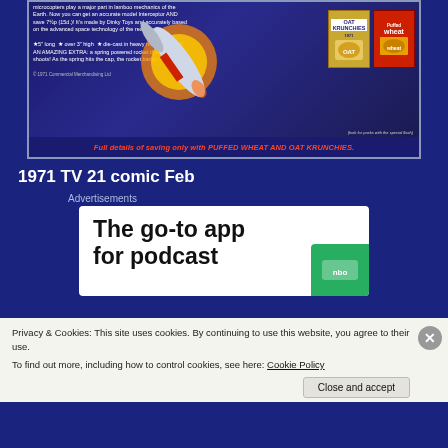[Figure (illustration): Vintage 1971 TV 21 comic advertisement showing a Dinky Toys space interceptor rocket model with explosion graphics, and Puffed Wheat and Oat Krunchies cereal boxes. Bottom red banner reads: Full details of saving only with PUFFED WHEAT AND OAT KRUNCHIES.]
1971 TV 21 comic Feb
Advertisements
[Figure (screenshot): Advertisement banner for a podcast app reading: The go-to app for podcast [lovers]. Shows green card element on right side.]
Privacy & Cookies: This site uses cookies. By continuing to use this website, you agree to their use.
To find out more, including how to control cookies, see here: Cookie Policy
Close and accept